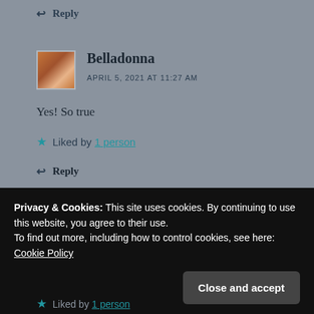↩ Reply
Belladonna
APRIL 5, 2021 AT 11:27 AM
Yes! So true
★ Liked by 1 person
↩ Reply
Privacy & Cookies: This site uses cookies. By continuing to use this website, you agree to their use.
To find out more, including how to control cookies, see here: Cookie Policy
Close and accept
★ Liked by 1 person